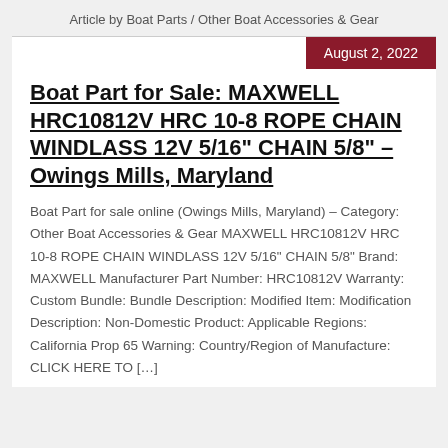Article by Boat Parts / Other Boat Accessories & Gear
August 2, 2022
Boat Part for Sale: MAXWELL HRC10812V HRC 10-8 ROPE CHAIN WINDLASS 12V 5/16" CHAIN 5/8" – Owings Mills, Maryland
Boat Part for sale online (Owings Mills, Maryland) – Category: Other Boat Accessories & Gear MAXWELL HRC10812V HRC 10-8 ROPE CHAIN WINDLASS 12V 5/16&quot; CHAIN 5/8&quot; Brand: MAXWELL Manufacturer Part Number: HRC10812V Warranty: Custom Bundle: Bundle Description: Modified Item: Modification Description: Non-Domestic Product: Applicable Regions: California Prop 65 Warning: Country/Region of Manufacture: CLICK HERE TO […]